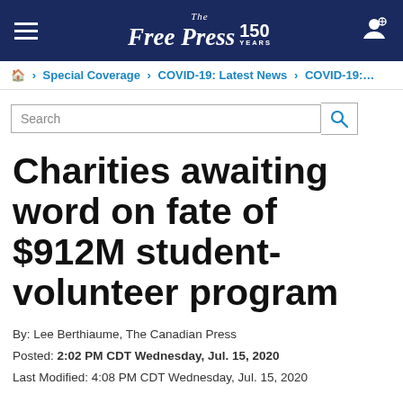The Free Press 150 YEARS
🏠 > Special Coverage > COVID-19: Latest News > COVID-19:...
Search
Charities awaiting word on fate of $912M student-volunteer program
By: Lee Berthiaume, The Canadian Press
Posted: 2:02 PM CDT Wednesday, Jul. 15, 2020
Last Modified: 4:08 PM CDT Wednesday, Jul. 15, 2020